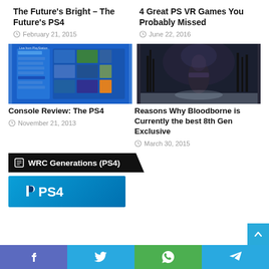The Future's Bright – The Future's PS4
February 21, 2015
4 Great PS VR Games You Probably Missed
June 22, 2016
[Figure (screenshot): PS4 Live from PlayStation interface screenshot]
[Figure (photo): Dark fantasy game character – Bloodborne]
Console Review: The PS4
November 21, 2013
Reasons Why Bloodborne is Currently the best 8th Gen Exclusive
March 30, 2015
WRC Generations (PS4)
[Figure (logo): PS4 logo on blue background]